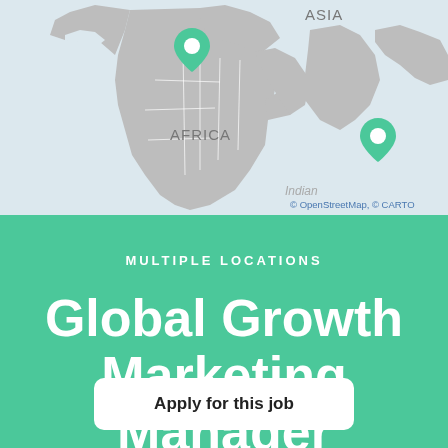[Figure (map): World map showing Africa and Asia regions with two green location pin markers — one over the Middle East/Turkey area and one over India/South Asia area. Map attribution reads © OpenStreetMap, © CARTO.]
MULTIPLE LOCATIONS
Global Growth Marketing Manager
Apply for this job